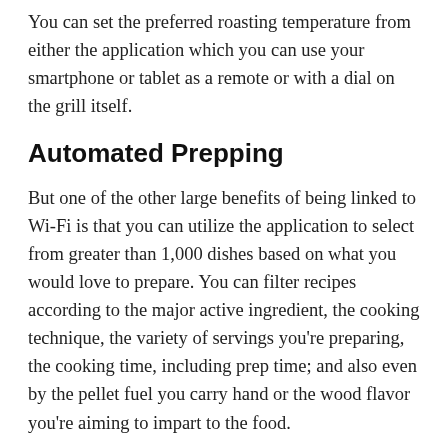You can set the preferred roasting temperature from either the application which you can use your smartphone or tablet as a remote or with a dial on the grill itself.
Automated Prepping
But one of the other large benefits of being linked to Wi-Fi is that you can utilize the application to select from greater than 1,000 dishes based on what you would love to prepare. You can filter recipes according to the major active ingredient, the cooking technique, the variety of servings you're preparing, the cooking time, including prep time; and also even by the pellet fuel you carry hand or the wood flavor you're aiming to impart to the food.